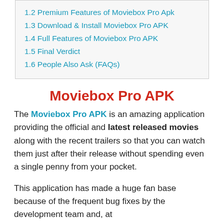1.2 Premium Features of Moviebox Pro Apk
1.3 Download & Install Moviebox Pro APK
1.4 Full Features of Moviebox Pro APK
1.5 Final Verdict
1.6 People Also Ask (FAQs)
Moviebox Pro APK
The Moviebox Pro APK is an amazing application providing the official and latest released movies along with the recent trailers so that you can watch them just after their release without spending even a single penny from your pocket.
This application has made a huge fan base because of the frequent bug fixes by the development team and, at